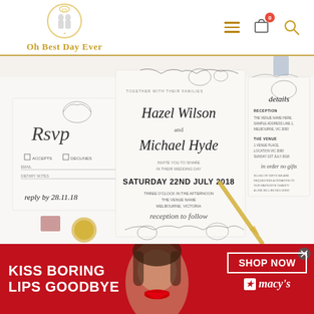[Figure (logo): Oh Best Day Ever logo with wedding couple silhouette in a ring circle, gold text]
[Figure (photo): Wedding invitation suite laid out on white surface showing RSVP card, main invitation card with floral botanical illustration for Hazel Wilson and Michael Hyde, SATURDAY 22ND JULY 2018 wedding, and details card, with gold pen and wax seal]
[Figure (photo): Advertisement banner: Macy's lipstick ad showing woman with red lips, text KISS BORING LIPS GOODBYE, SHOP NOW button, Macy's star logo]